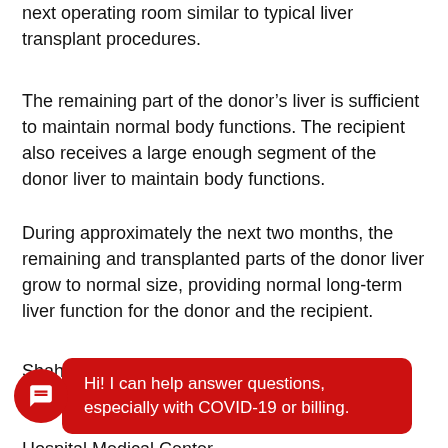next operating room similar to typical liver transplant procedures.
The remaining part of the donor’s liver is sufficient to maintain normal body functions. The recipient also receives a large enough segment of the donor liver to maintain body functions.
During approximately the next two months, the remaining and transplanted parts of the donor liver grow to normal size, providing normal long-term liver function for the donor and the recipient.
Shah and several other UC Health transplant surgeons have perf[obscured by chat widget]t surgeons at Cincinnati Children’s Hospital Medical Center [obscured]
[Figure (other): Red chat widget overlay with speech bubble icon and text: 'Hi! I can help answer questions, especially with COVID-19 or billing.']